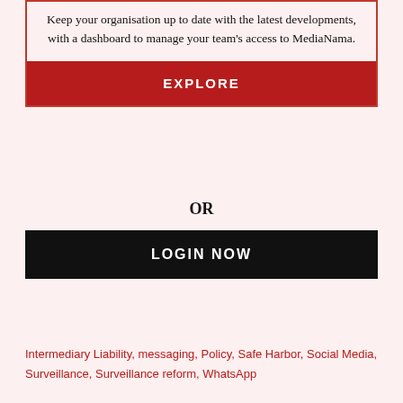Keep your organisation up to date with the latest developments, with a dashboard to manage your team's access to MediaNama.
EXPLORE
OR
LOGIN NOW
Intermediary Liability, messaging, Policy, Safe Harbor, Social Media, Surveillance, Surveillance reform, WhatsApp